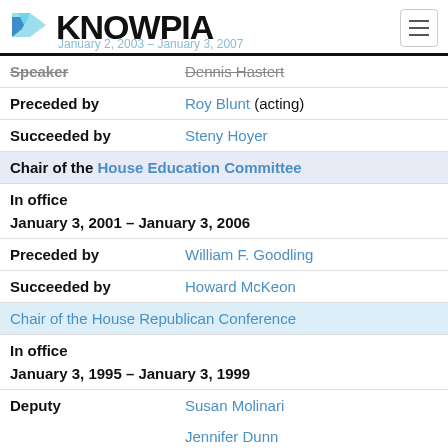KNOWPIA
| Speaker | Dennis Hastert |
| Preceded by | Roy Blunt (acting) |
| Succeeded by | Steny Hoyer |
| Chair of the House Education Committee |  |
| In office |  |
| January 3, 2001 – January 3, 2006 |  |
| Preceded by | William F. Goodling |
| Succeeded by | Howard McKeon |
| Chair of the House Republican Conference |  |
| In office |  |
| January 3, 1995 – January 3, 1999 |  |
| Deputy | Susan Molinari
Jennifer Dunn |
| Leader | Newt Gingrich |
| Preceded by | Dick Armey |
| Succeeded by | J. C. Watts |
| Member of the U.S. House of Representatives |  |